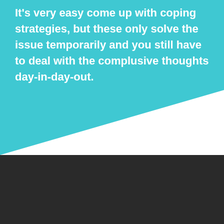It's very easy come up with coping strategies, but these only solve the issue temporarily and you still have to deal with the complusive thoughts day-in-day-out.
Categories
Emotional Eating